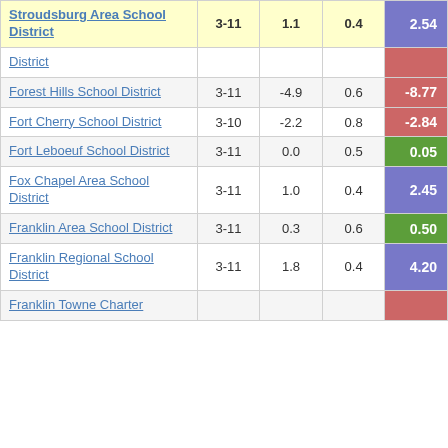| School District | Grades | Col3 | Col4 | Score |
| --- | --- | --- | --- | --- |
| Stroudsburg Area School District | 3-11 | 1.1 | 0.4 | 2.54 |
| District |  |  |  |  |
| Forest Hills School District | 3-11 | -4.9 | 0.6 | -8.77 |
| Fort Cherry School District | 3-10 | -2.2 | 0.8 | -2.84 |
| Fort Leboeuf School District | 3-11 | 0.0 | 0.5 | 0.05 |
| Fox Chapel Area School District | 3-11 | 1.0 | 0.4 | 2.45 |
| Franklin Area School District | 3-11 | 0.3 | 0.6 | 0.50 |
| Franklin Regional School District | 3-11 | 1.8 | 0.4 | 4.20 |
| Franklin Towne Charter |  |  |  |  |